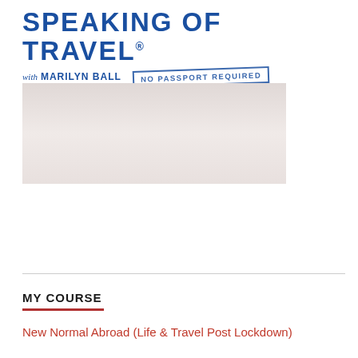[Figure (logo): Speaking of Travel logo with 'with Marilyn Ball' subtitle and 'No Passport Required' stamp, in blue]
[Figure (photo): Faded/placeholder image area below the logo, light pinkish-grey gradient]
MY COURSE
New Normal Abroad (Life & Travel Post Lockdown)